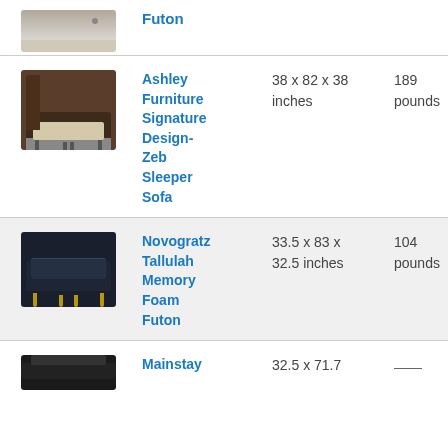| Image | Name | Dimensions | Weight | Material |
| --- | --- | --- | --- | --- |
| [futon image] | Futon |  |  |  |
| [ashley furniture image] | Ashley Furniture Signature Design-Zeb Sleeper Sofa | 38 x 82 x 38 inches | 189 pounds | Fabric |
| [novogratz image] | Novogratz Tallulah Memory Foam Futon | 33.5 x 83 x 32.5 inches | 104 pounds | Velvet |
| [mainstay image] | Mainstay | 32.5 x 71.7 | — | Leather |